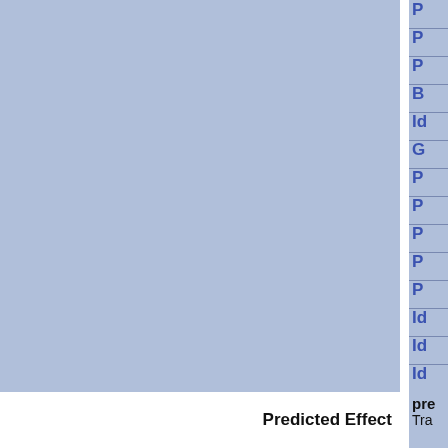[Figure (other): Cropped view of a large data table with blue background columns. Left portion shows a wide blue column (~400px), then a narrow white vertical divider, then a right narrow column with blue background containing partially visible text labels starting with letters: P, P, B, Id, G, P, P, P, P, P, Id, Id, Id. Below the table rows, two rows appear: 'Predicted Effect' label in bold with 'pre Tra' value, and another partial 'Predicted Effect' row at the bottom edge.]